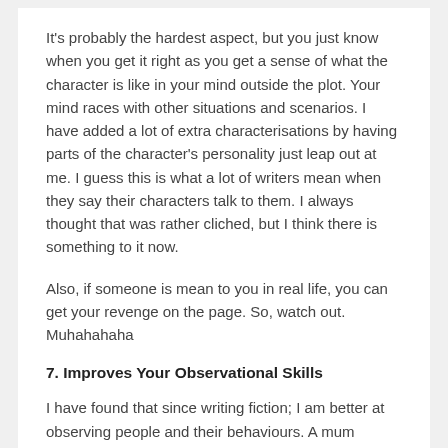It's probably the hardest aspect, but you just know when you get it right as you get a sense of what the character is like in your mind outside the plot. Your mind races with other situations and scenarios. I have added a lot of extra characterisations by having parts of the character's personality just leap out at me. I guess this is what a lot of writers mean when they say their characters talk to them. I always thought that was rather cliched, but I think there is something to it now.
Also, if someone is mean to you in real life, you can get your revenge on the page. So, watch out. Muhahahaha
7. Improves Your Observational Skills
I have found that since writing fiction; I am better at observing people and their behaviours. A mum arguing with a toddler in the supermarket. A couple having an